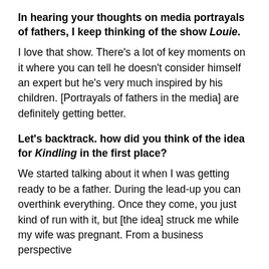In hearing your thoughts on media portrayals of fathers, I keep thinking of the show Louie.
I love that show. There's a lot of key moments on it where you can tell he doesn't consider himself an expert but he's very much inspired by his children. [Portrayals of fathers in the media] are definitely getting better.
Let's backtrack. how did you think of the idea for Kindling in the first place?
We started talking about it when I was getting ready to be a father. During the lead-up you can overthink everything. Once they come, you just kind of run with it, but [the idea] struck me while my wife was pregnant. From a business perspective